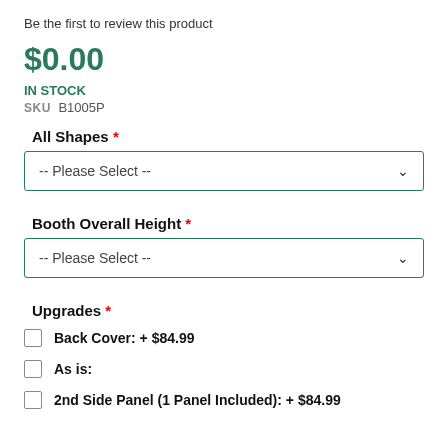Be the first to review this product
$0.00
IN STOCK
SKU B1005P
All Shapes *
-- Please Select --
Booth Overall Height *
-- Please Select --
Upgrades *
Back Cover: + $84.99
As is:
2nd Side Panel (1 Panel Included): + $84.99